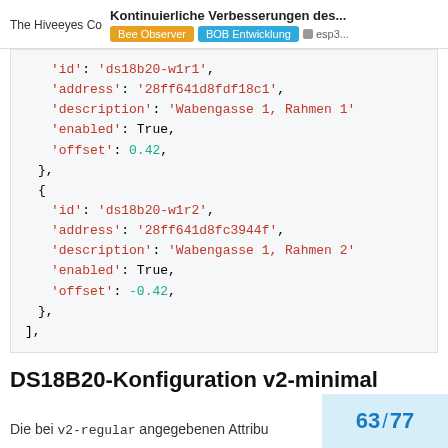The Hiveeyes Co — Kontinuierliche Verbesserungen des... | Bee Observer | BOB Entwicklung | esp3...
'id': 'ds18b20-w1r1',
'address': '28ff641d8fdf18c1',
'description': 'Wabengasse 1, Rahmen 1'
'enabled': True,
'offset': 0.42,
},
{
'id': 'ds18b20-w1r2',
'address': '28ff641d8fc3944f',
'description': 'Wabengasse 1, Rahmen 2'
'enabled': True,
'offset': -0.42,
},
],
DS18B20-Konfiguration v2-minimal
Die bei v2-regular angegebenen Attribu
63 / 77